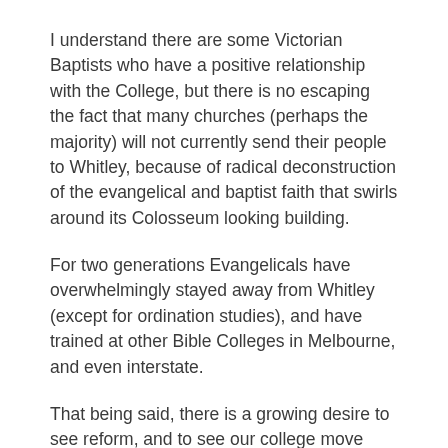I understand there are some Victorian Baptists who have a positive relationship with the College, but there is no escaping the fact that many churches (perhaps the majority) will not currently send their people to Whitley, because of radical deconstruction of the evangelical and baptist faith that swirls around its Colosseum looking building.
For two generations Evangelicals have overwhelmingly stayed away from Whitley (except for ordination studies), and have trained at other Bible Colleges in Melbourne, and even interstate.
That being said, there is a growing desire to see reform, and to see our college move forward.